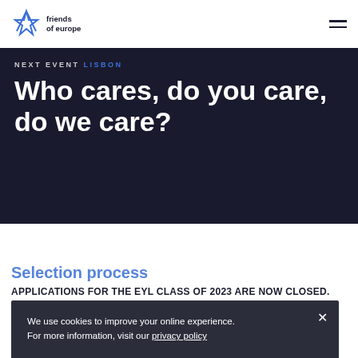friends of europe [logo] [hamburger menu]
NEXT EVENT LISBON
Who cares, do you care, do we care?
Selection process
APPLICATIONS FOR THE EYL CLASS OF 2023 ARE NOW CLOSED.
NOMINATIONS FOR UKRAINIAN NATIONALS* ARE OPEN UNTIL 04 JUNE 2023.
We use cookies to improve your online experience. For more information, visit our privacy policy